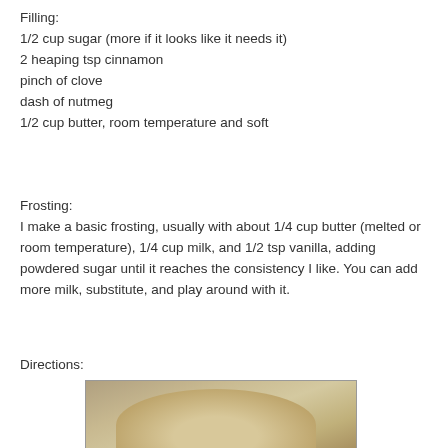Filling:
1/2 cup sugar (more if it looks like it needs it)
2 heaping tsp cinnamon
pinch of clove
dash of nutmeg
1/2 cup butter, room temperature and soft
Frosting:
I make a basic frosting, usually with about 1/4 cup butter (melted or room temperature), 1/4 cup milk, and 1/2 tsp vanilla, adding powdered sugar until it reaches the consistency I like. You can add more milk, substitute, and play around with it.
Directions:
[Figure (photo): A photo showing a round dough or baked good viewed from above against a gray background]